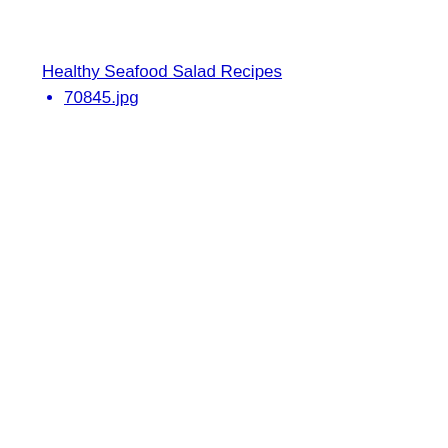Healthy Seafood Salad Recipes
70845.jpg